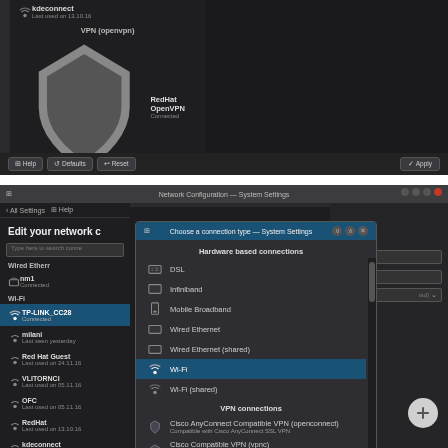[Figure (screenshot): Top portion of GNOME Network Manager settings panel showing VPN connections: kdeconnect, VPN (openvpn) section header, RedHat OpenVPN (Connected), VPN (vpnc) section header, RH VPNC (Last used 04.10.16), Add new connection button, and bottom bar with Help, Defaults, Reset, Apply buttons.]
[Figure (screenshot): Bottom portion showing Network Configuration System Settings window with 'Edit your network' panel on left listing connections (nm1 Connected, TP-LINK_CC28 Connected, milani, Red Hat Guest, VLITORNCI, OFC, RedHat, kdeconnect, VPN openvp), and a 'Choose a connection type - System Settings' dialog overlaid showing Hardware based connections (DSL, Infiniband, Mobile Broadband, Wired Ethernet, Wired Ethernet shared, Wi-Fi highlighted in blue, Wi-Fi shared) and VPN connections (Cisco AnyConnect Compatible VPN openconnect, Cisco Compatible VPN vpnc, Iodine DNS tunnel iodine).]